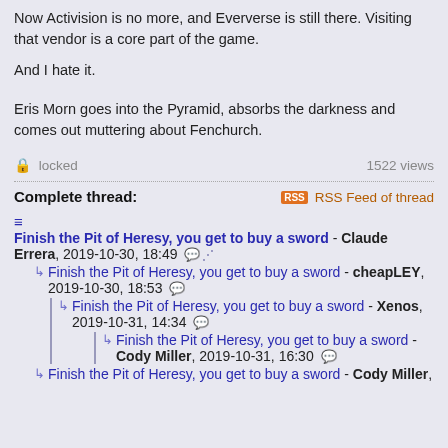Now Activision is no more, and Eververse is still there. Visiting that vendor is a core part of the game.
And I hate it.
Eris Morn goes into the Pyramid, absorbs the darkness and comes out muttering about Fenchurch.
🔒 locked   1522 views
Complete thread:
RSS Feed of thread
Finish the Pit of Heresy, you get to buy a sword - Claude Errera, 2019-10-30, 18:49
Finish the Pit of Heresy, you get to buy a sword - cheapLEY, 2019-10-30, 18:53
Finish the Pit of Heresy, you get to buy a sword - Xenos, 2019-10-31, 14:34
Finish the Pit of Heresy, you get to buy a sword - Cody Miller, 2019-10-31, 16:30
Finish the Pit of Heresy, you get to buy a sword - Cody Miller,